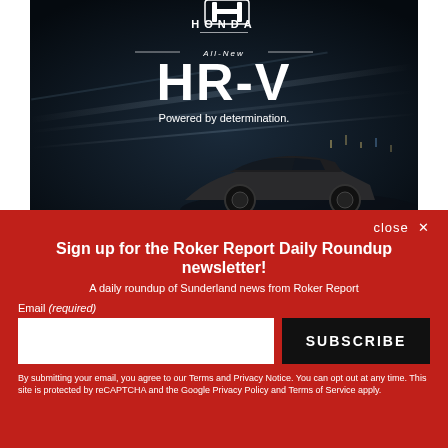[Figure (advertisement): Honda HR-V advertisement on black background showing Honda logo, 'All-New HR-V' text, 'Powered by determination.' tagline, and a car image in a dark tunnel/road setting.]
close ✕
Sign up for the Roker Report Daily Roundup newsletter!
A daily roundup of Sunderland news from Roker Report
Email (required)
SUBSCRIBE
By submitting your email, you agree to our Terms and Privacy Notice. You can opt out at any time. This site is protected by reCAPTCHA and the Google Privacy Policy and Terms of Service apply.